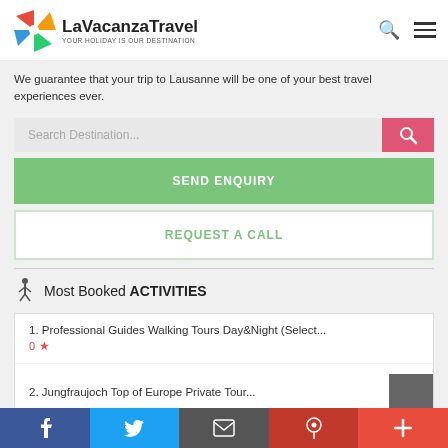[Figure (logo): LaVacanzaTravel logo with colorful pinwheel icon and text 'LaVacanzaTravel — YOUR HOLIDAY IS OUR DESTINATION']
We guarantee that your trip to Lausanne will be one of your best travel experiences ever.
[Figure (screenshot): Search destination input field with pink search button]
SEND ENQUIRY
REQUEST A CALL
Most Booked ACTIVITIES
1. Professional Guides Walking Tours Day&Night (Select...
2. Jungfraujoch Top of Europe Private Tour...
[Figure (infographic): Social share bar with Facebook, Twitter, Email, Pinterest, and Plus icons]